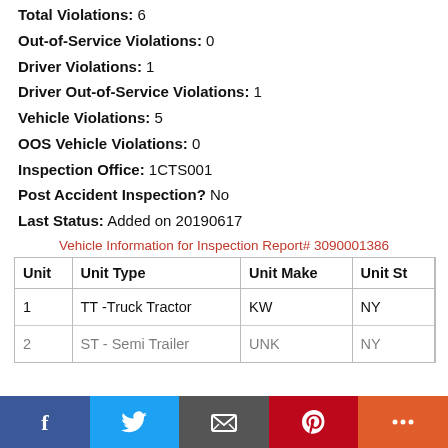Total Violations: 6
Out-of-Service Violations: 0
Driver Violations: 1
Driver Out-of-Service Violations: 1
Vehicle Violations: 5
OOS Vehicle Violations: 0
Inspection Office: 1CTS001
Post Accident Inspection? No
Last Status: Added on 20190617
Vehicle Information for Inspection Report# 3090001386
| Unit | Unit Type | Unit Make | Unit St |
| --- | --- | --- | --- |
| 1 | TT -Truck Tractor | KW | NY |
| 2 | ST - Semi Trailer | UNK | NY |
Facebook | Twitter | Email | Pinterest | More